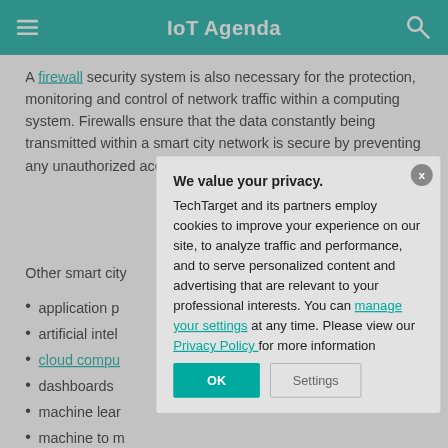IoT Agenda
A firewall security system is also necessary for the protection, monitoring and control of network traffic within a computing system. Firewalls ensure that the data constantly being transmitted within a smart city network is secure by preventing any unauthorized access to the IoT
Other smart city
application p
artificial intel
cloud compu
dashboards
machine lear
machine to m
mesh networ
[Figure (screenshot): Privacy consent modal overlay with title 'We value your privacy.' and buttons OK and Settings, over a page about IoT smart city security including firewall description and bullet list items.]